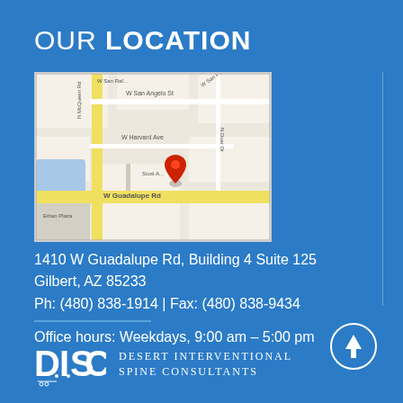OUR LOCATION
[Figure (map): Google Maps screenshot showing the location at 1410 W Guadalupe Rd, Gilbert AZ, with street names including W San Angelo St, W Harvard Ave, W Guadalupe Rd, and N McQueen Rd visible. A red pin marks the location.]
1410 W Guadalupe Rd, Building 4 Suite 125
Gilbert, AZ 85233
Ph: (480) 838-1914 | Fax: (480) 838-9434
Office hours: Weekdays, 9:00 am – 5:00 pm
[Figure (logo): DISC logo — stylized letters D.I.S.C with Desert Interventional Spine Consultants text]